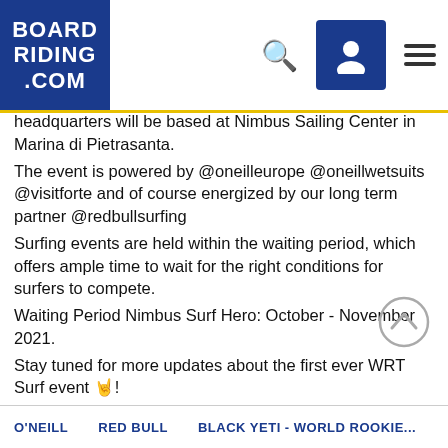BOARD RIDING .COM
headquarters will be based at Nimbus Sailing Center in Marina di Pietrasanta.
The event is powered by @oneilleurope @oneillwetsuits @visitforte and of course energized by our long term partner @redbullsurfing
Surfing events are held within the waiting period, which offers ample time to wait for the right conditions for surfers to compete.
Waiting Period Nimbus Surf Hero: October - November 2021.
Stay tuned for more updates about the first ever WRT Surf event 🤙!
Pictures courtesy from @fede_romanello and @d.eeva
#worldrookietour #blackyeti #nimbussurfingclub
#tuscany #fortedeimarmi #marinadipietrasanta #surfing

Source: @worldrookietour
Image credit: @fede_romanello and @d.eeva
O'NEILL   RED BULL   BLACK YETI - WORLD ROOKIE...